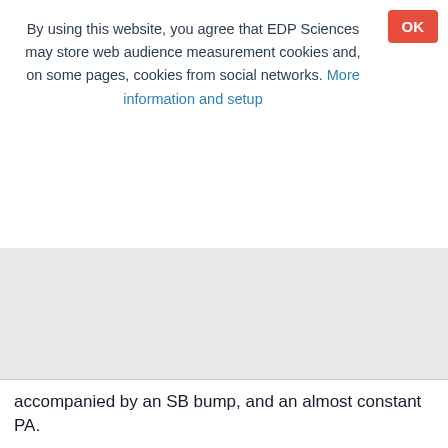By using this website, you agree that EDP Sciences may store web audience measurement cookies and, on some pages, cookies from social networks. More information and setup
accompanied by an SB bump, and an almost constant PA.